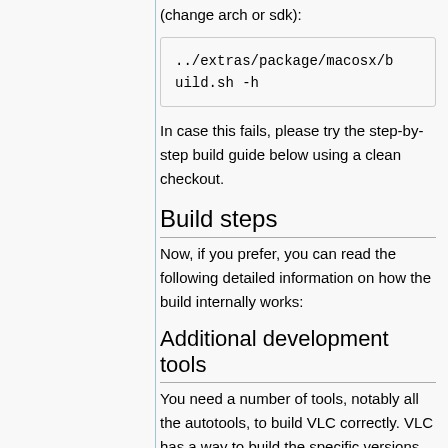You can see more options for this script (change arch or sdk):
../extras/package/macosx/build.sh -h
In case this fails, please try the step-by-step build guide below using a clean checkout.
Build steps
Now, if you prefer, you can read the following detailed information on how the build internally works:
Additional development tools
You need a number of tools, notably all the autotools, to build VLC correctly. VLC has a way to build the specific versions